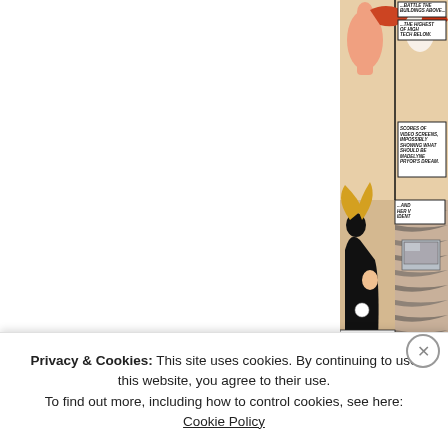[Figure (illustration): Comic book page panels showing a villain in black costume with a woman figure, and high-tech screens/computers. Caption boxes read: 'BUILDINGS ABOVE...', 'THE HIGHEST OF HIGH TECH BELOW.', 'SCORES OF VIDEO SCREENS, IMPOSSIBLY SHOWING WHAT SHOULD BE MADELYNE PRYOR'S DREAM.', '...AND HER V IDENT'. Left and center panels are blank/white. Right panels show comic art with figures in black and peach/salmon tones.]
Privacy & Cookies: This site uses cookies. By continuing to use this website, you agree to their use.
To find out more, including how to control cookies, see here: Cookie Policy
Close and accept